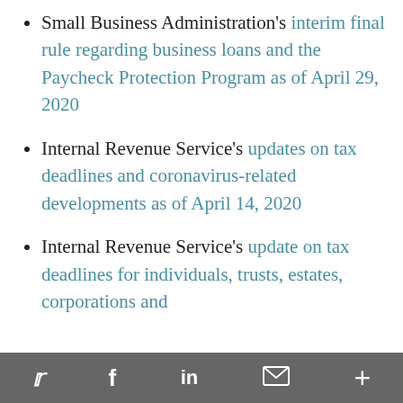Small Business Administration's interim final rule regarding business loans and the Paycheck Protection Program as of April 29, 2020
Internal Revenue Service's updates on tax deadlines and coronavirus-related developments as of April 14, 2020
Internal Revenue Service's update on tax deadlines for individuals, trusts, estates, corporations and
Twitter  Facebook  LinkedIn  Email  More